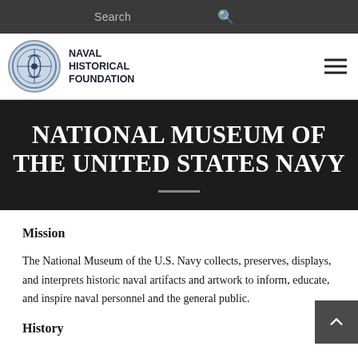Search
[Figure (logo): Naval Historical Foundation circular seal/logo with text NAVAL HISTORICAL FOUNDATION]
NATIONAL MUSEUM OF THE UNITED STATES NAVY
Mission
The National Museum of the U.S. Navy collects, preserves, displays, and interprets historic naval artifacts and artwork to inform, educate, and inspire naval personnel and the general public.
History